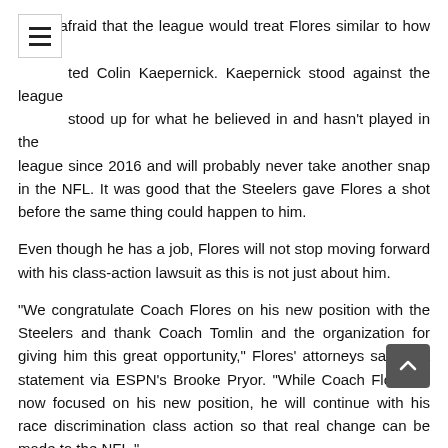I was afraid that the league would treat Flores similar to how they treated Colin Kaepernick. Kaepernick stood against the league and stood up for what he believed in and hasn't played in the league since 2016 and will probably never take another snap in the NFL. It was good that the Steelers gave Flores a shot before the same thing could happen to him.
Even though he has a job, Flores will not stop moving forward with his class-action lawsuit as this is not just about him.
“We congratulate Coach Flores on his new position with the Steelers and thank Coach Tomlin and the organization for giving him this great opportunity,” Flores’ attorneys said in a statement via ESPN’s Brooke Pryor. “While Coach Flores is now focused on his new position, he will continue with his race discrimination class action so that real change can be made to the NFL.”
Kudos to the Pittsburgh Steelers for being the only team to have the guts to hire Flores. I hope this is just a stepping stone for him to get back to his ultimate goal of being a head coach. Being with Tomlin and the host of stars the Steelers have on the defense, it’s only a matter of time before Flores will be back as the lead man for someone’s franchise.